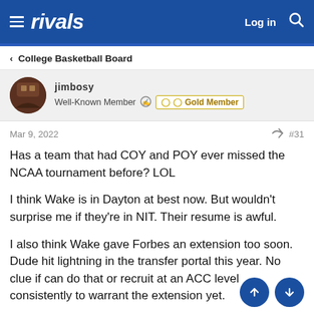rivals  Log in
< College Basketball Board
jimbosy
Well-Known Member  Gold Member
Mar 9, 2022  #31
Has a team that had COY and POY ever missed the NCAA tournament before? LOL

I think Wake is in Dayton at best now. But wouldn't surprise me if they're in NIT. Their resume is awful.

I also think Wake gave Forbes an extension too soon. Dude hit lightning in the transfer portal this year. No clue if can do that or recruit at an ACC level consistently to warrant the extension yet.